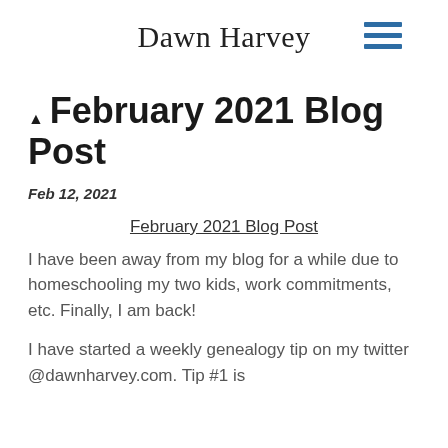Dawn Harvey
February 2021 Blog Post
Feb 12, 2021
February 2021 Blog Post
I have been away from my blog for a while due to homeschooling my two kids, work commitments, etc. Finally, I am back!
I have started a weekly genealogy tip on my twitter @dawnharvey.com. Tip #1 is